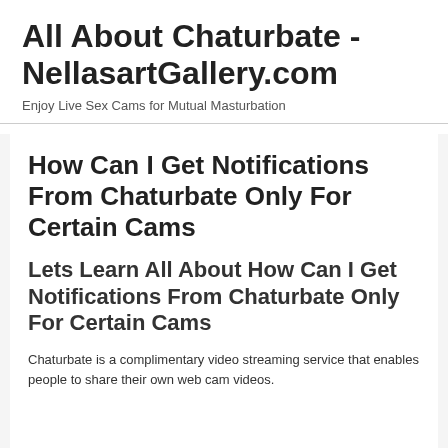All About Chaturbate - NellasartGallery.com
Enjoy Live Sex Cams for Mutual Masturbation
How Can I Get Notifications From Chaturbate Only For Certain Cams
Lets Learn All About How Can I Get Notifications From Chaturbate Only For Certain Cams
Chaturbate is a complimentary video streaming service that enables people to share their own web cam videos.